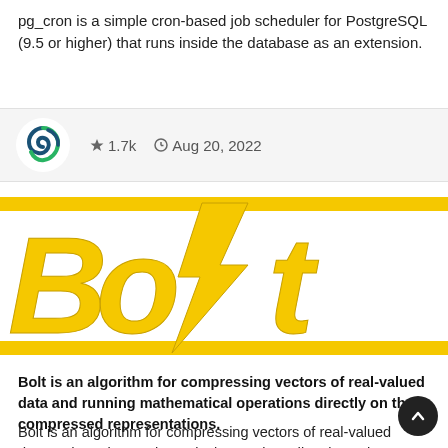pg_cron is a simple cron-based job scheduler for PostgreSQL (9.5 or higher) that runs inside the database as an extension.
[Figure (logo): Card with a blue-green swirl logo icon, star rating 1.7k, and date Aug 20, 2022]
[Figure (logo): Bolt logo: large yellow italic bold text 'Bolt' with lightning bolt replacing the letter l, on white background with yellow horizontal bars top and bottom]
Bolt is an algorithm for compressing vectors of real-valued data and running mathematical operations directly on the compressed representations.
Bolt is an algorithm for compressing vectors of real-valued data and running mathematical operations directly on the compressed representations.